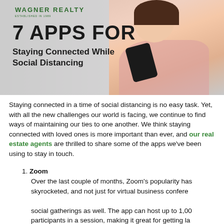[Figure (photo): Wagner Realty branded header image showing a woman using a smartphone, with text '7 APPS FOR Staying Connected While Social Distancing' and Wagner Realty logo]
Staying connected in a time of social distancing is no easy task. Yet, with all the new challenges our world is facing, we continue to find ways of maintaining our ties to one another. We think staying connected with loved ones is more important than ever, and our real estate agents are thrilled to share some of the apps we've been using to stay in touch.
Zoom
Over the last couple of months, Zoom's popularity has skyrocketed, and not just for virtual business conferences, but social gatherings as well. The app can host up to 1,000 participants in a session, making it great for getting large groups of friends together. Sessions under 40 minutes are free, but beyond that, you'll need a subscription.